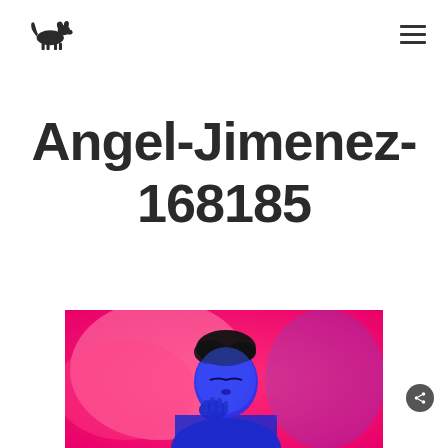Logo and navigation menu
Angel-Jimenez-168185
[Figure (photo): A man with blue lighting on his face against a pink/magenta background, eyes closed, hand raised near his mouth]